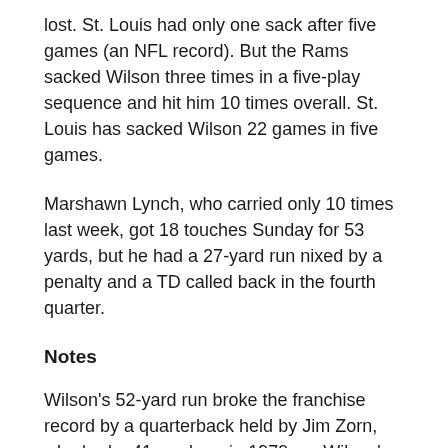lost. St. Louis had only one sack after five games (an NFL record). But the Rams sacked Wilson three times in a five-play sequence and hit him 10 times overall. St. Louis has sacked Wilson 22 games in five games.
Marshawn Lynch, who carried only 10 times last week, got 18 touches Sunday for 53 yards, but he had a 27-yard run nixed by a penalty and a TD called back in the fourth quarter.
Notes
Wilson's 52-yard run broke the franchise record by a quarterback held by Jim Zorn, who had a 41-yard run in 1979 . . . Wilson's 106 rushing yards are the second-highest total of his career, trailing the 122 he had at Washington two weeks ago . . . Wilson's 300-yard passing game was the fourth of his career and his first since throwing for 310 against New